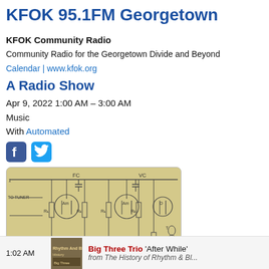KFOK 95.1FM Georgetown
KFOK Community Radio
Community Radio for the Georgetown Divide and Beyond
Calendar | www.kfok.org
A Radio Show
Apr 9, 2022 1:00 AM – 3:00 AM
Music
With Automated
[Figure (circuit-diagram): Vintage vacuum tube radio amplifier circuit diagram on tan/beige background, showing multiple triode tubes labeled Am and D, components labeled FC, VC, R1, R2, and connections to tuner and output transformer T. Power supply connections labeled with a, b, +, LT5.]
1:02 AM  Big Three Trio 'After While'  from The History of Rhythm & Blues